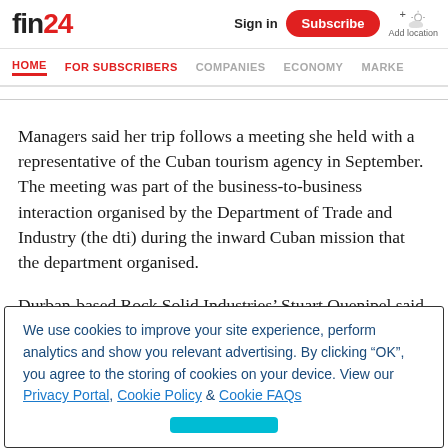fin24 | Sign in | Subscribe | Add location
HOME | FOR SUBSCRIBERS | COMPANIES | ECONOMY | MARKE
Managers said her trip follows a meeting she held with a representative of the Cuban tourism agency in September. The meeting was part of the business-to-business interaction organised by the Department of Trade and Industry (the dti) during the inward Cuban mission that the department organised.
Durban-based Rock Solid Industries’ Stuart Quenipel said
We use cookies to improve your site experience, perform analytics and show you relevant advertising. By clicking “OK”, you agree to the storing of cookies on your device. View our Privacy Portal, Cookie Policy & Cookie FAQs